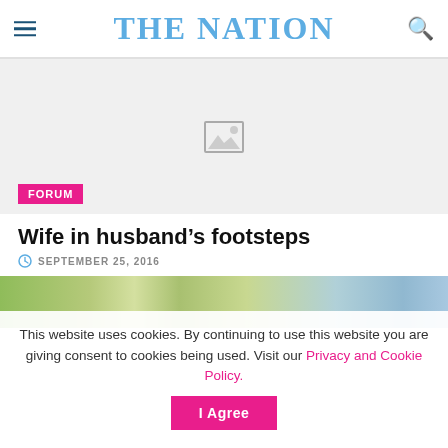THE NATION
[Figure (screenshot): Large image placeholder with grey background and broken image icon, with FORUM badge overlay at bottom left]
Wife in husband’s footsteps
SEPTEMBER 25, 2016
[Figure (photo): Partial photo of outdoor nature scene with trees, partially visible at bottom of page]
This website uses cookies. By continuing to use this website you are giving consent to cookies being used. Visit our Privacy and Cookie Policy.